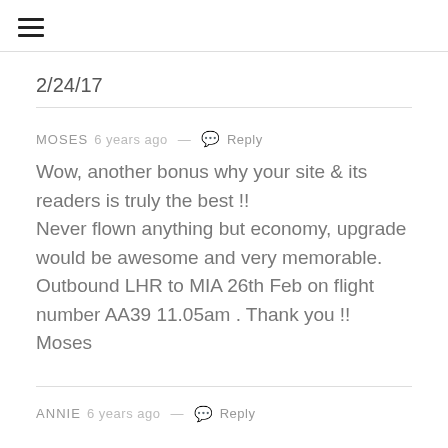☰
2/24/17
MOSES 6 years ago — Reply
Wow, another bonus why your site & its readers is truly the best !!
Never flown anything but economy, upgrade would be awesome and very memorable.
Outbound LHR to MIA 26th Feb on flight number AA39 11.05am . Thank you !!
Moses
ANNIE 6 years ago — Reply